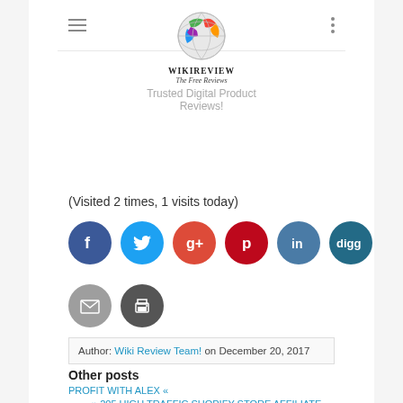WIKIREVIEW The Free Reviews - Trusted Digital Product Reviews!
(Visited 2 times, 1 visits today)
[Figure (infographic): Social sharing icons row 1: Facebook (dark blue), Twitter (cyan), Google+ (orange-red), Pinterest (red), LinkedIn (steel blue), Digg (dark teal)]
[Figure (infographic): Social sharing icons row 2: Email (gray), Print (dark gray)]
Author: Wiki Review Team! on December 20, 2017
Other posts
PROFIT WITH ALEX «
» 205 HIGH TRAFFIC SHOPIFY STORE AFFILIATE PROGRAMS